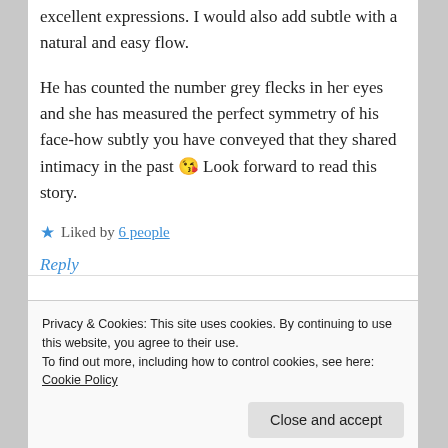excellent expressions. I would also add subtle with a natural and easy flow.
He has counted the number grey flecks in her eyes and she has measured the perfect symmetry of his face-how subtly you have conveyed that they shared intimacy in the past 😘 Look forward to read this story.
★ Liked by 6 people
Reply
Privacy & Cookies: This site uses cookies. By continuing to use this website, you agree to their use.
To find out more, including how to control cookies, see here: Cookie Policy